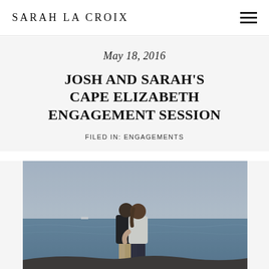SARAH LA CROIX
May 18, 2016
JOSH AND SARAH'S CAPE ELIZABETH ENGAGEMENT SESSION
FILED IN: ENGAGEMENTS
[Figure (photo): Couple embracing on a rocky ocean shoreline, man in black shirt and khaki shorts, woman in white tank top and dark jeans, overcast sky and water in background]